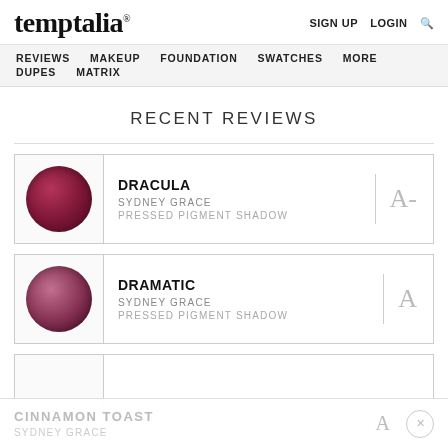temptalia® | SIGN UP  LOGIN  🔍
REVIEWS  MAKEUP  FOUNDATION  SWATCHES  MORE  DUPES  MATRIX
RECENT REVIEWS
[Figure (photo): Deep burgundy/crimson pressed pigment eyeshadow circle swatch for Dracula by Sydney Grace]
DRACULA
SYDNEY GRACE
PRESSED PIGMENT SHADOW
A-
[Figure (photo): Dusty rose/mauve shimmer pressed pigment eyeshadow circle swatch for Dramatic by Sydney Grace]
DRAMATIC
SYDNEY GRACE
PRESSED PIGMENT SHADOW
A
CINNAMON TOAST
SYDNEY GRACE
A